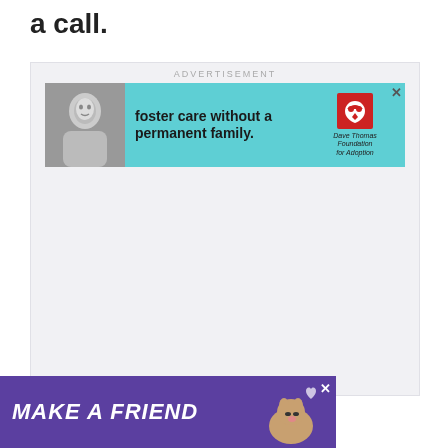a call.
[Figure (other): Advertisement banner: foster care without a permanent family. Dave Thomas Foundation for Adoption. Shows a young woman in black and white photo on left, teal background, logo on right with X close button.]
[Figure (other): Advertisement banner at bottom: MAKE A FRIEND with purple background, shows a dog image, heart graphics, with X close button on right side and W logo.]